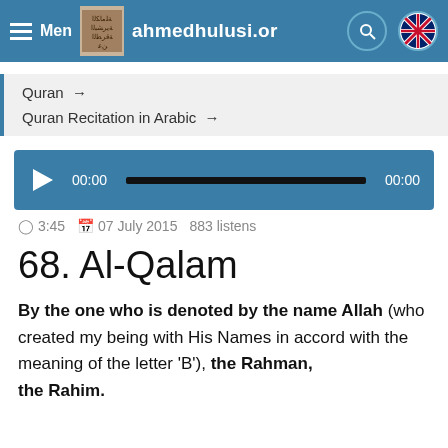Menu  ahmedhulusi.org
Quran →
Quran Recitation in Arabic →
[Figure (screenshot): Audio player bar with play button, 00:00 time, progress bar, and 00:00 end time]
🕐 3:45  🗓 07 July 2015  883 listens
68. Al-Qalam
By the one who is denoted by the name Allah (who created my being with His Names in accord with the meaning of the letter 'B'), the Rahman, the Rahim.